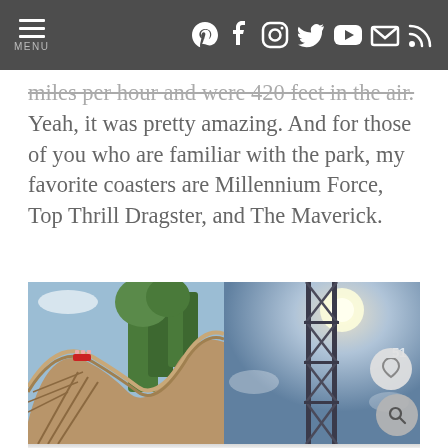MENU [navigation icons: Pinterest, Facebook, Instagram, Twitter, YouTube, Email, RSS]
miles per hour and were 420 feet in the air. Yeah, it was pretty amazing. And for those of you who are familiar with the park, my favorite coasters are Millennium Force, Top Thrill Dragster, and The Maverick.
[Figure (photo): Two side-by-side photos: left is a wooden roller coaster with trees in background and blue sky; right is a tall steel roller coaster tower (Top Thrill Dragster) shot from below against bright sun and blue sky, with heart and search overlay icons]
[Figure (photo): Partially visible bottom image, appears to be another roller coaster or park scene]